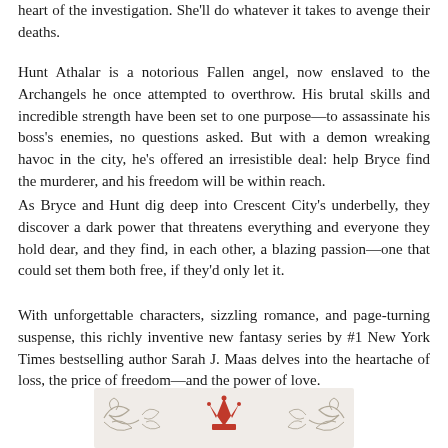heart of the investigation. She'll do whatever it takes to avenge their deaths.
Hunt Athalar is a notorious Fallen angel, now enslaved to the Archangels he once attempted to overthrow. His brutal skills and incredible strength have been set to one purpose—to assassinate his boss's enemies, no questions asked. But with a demon wreaking havoc in the city, he's offered an irresistible deal: help Bryce find the murderer, and his freedom will be within reach.
As Bryce and Hunt dig deep into Crescent City's underbelly, they discover a dark power that threatens everything and everyone they hold dear, and they find, in each other, a blazing passion—one that could set them both free, if they'd only let it.
With unforgettable characters, sizzling romance, and page-turning suspense, this richly inventive new fantasy series by #1 New York Times bestselling author Sarah J. Maas delves into the heartache of loss, the price of freedom—and the power of love.
[Figure (logo): Publisher logo with decorative scrollwork and a red crown emblem at the bottom of the page]